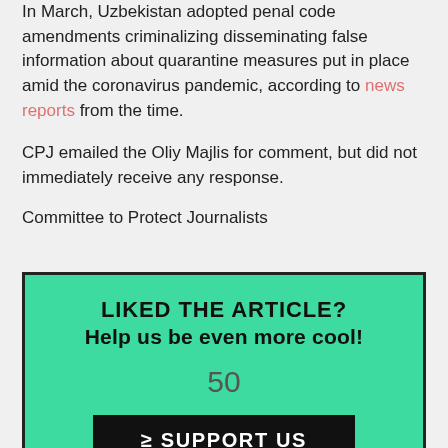In March, Uzbekistan adopted penal code amendments criminalizing disseminating false information about quarantine measures put in place amid the coronavirus pandemic, according to news reports from the time.
CPJ emailed the Oliy Majlis for comment, but did not immediately receive any response.
Committee to Protect Journalists
[Figure (infographic): Donation/support promotional box with green background. Heading: 'LIKED THE ARTICLE? Help us be even more cool!' Number: 50. Button: '≥ SUPPORT US']